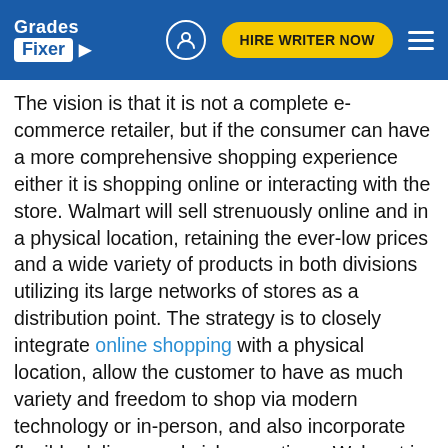Grades Fixer | HIRE WRITER NOW
The vision is that it is not a complete e-commerce retailer, but if the consumer can have a more comprehensive shopping experience either it is shopping online or interacting with the store. Walmart will sell strenuously online and in a physical location, retaining the ever-low prices and a wide variety of products in both divisions utilizing its large networks of stores as a distribution point. The strategy is to closely integrate online shopping with a physical location, allow the customer to have as much variety and freedom to shop via modern technology or in-person, and also incorporate flexible delivery and pick-up options. Walmart is aimed to become the largest omnichannel retailer.
Amazon's strategy is to expand the selection of the product to be as extensive as Walmart's. It